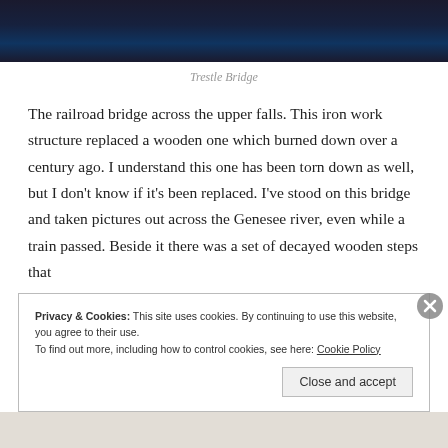[Figure (photo): Dark nighttime photo of Trestle Bridge, showing a shadowy iron bridge structure]
Trestle Bridge
The railroad bridge across the upper falls. This iron work structure replaced a wooden one which burned down over a century ago. I understand this one has been torn down as well, but I don't know if it's been replaced. I've stood on this bridge and taken pictures out across the Genesee river, even while a train passed. Beside it there was a set of decayed wooden steps that
Privacy & Cookies: This site uses cookies. By continuing to use this website, you agree to their use.
To find out more, including how to control cookies, see here: Cookie Policy
Close and accept